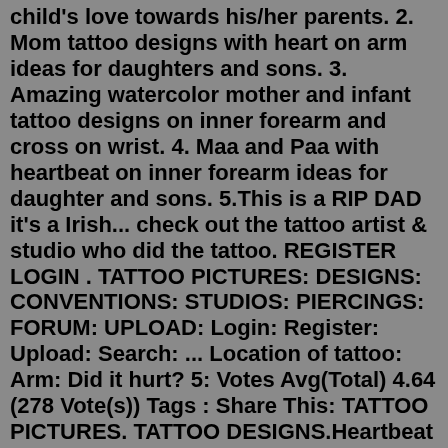child's love towards his/her parents. 2. Mom tattoo designs with heart on arm ideas for daughters and sons. 3. Amazing watercolor mother and infant tattoo designs on inner forearm and cross on wrist. 4. Maa and Paa with heartbeat on inner forearm ideas for daughter and sons. 5.This is a RIP DAD it's a Irish... check out the tattoo artist & studio who did the tattoo. REGISTER LOGIN . TATTOO PICTURES: DESIGNS: CONVENTIONS: STUDIOS: PIERCINGS: FORUM: UPLOAD: Login: Register: Upload: Search: ... Location of tattoo: Arm: Did it hurt? 5: Votes Avg(Total) 4.64 (278 Vote(s)) Tags : Share This: TATTOO PICTURES. TATTOO DESIGNS.Heartbeat tattoos can have many different meanings. However, in terms of your bond with your sister, it symbolizes love, passion, persistence and patience. It is more like a representation of your emotional relationship with your sister. It is vital that you and your sister have the patience and the strength to oversee difficult situations.The Rest in Peace or RIP tattoos are memorial tattoos. They pay tribute to